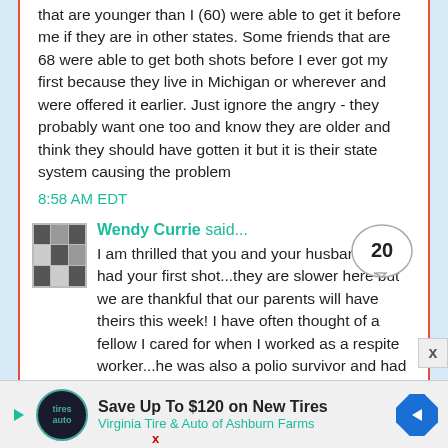that are younger than I (60) were able to get it before me if they are in other states. Some friends that are 68 were able to get both shots before I ever got my first because they live in Michigan or wherever and were offered it earlier. Just ignore the angry - they probably want one too and know they are older and think they should have gotten it but it is their state system causing the problem
8:58 AM EDT
Wendy Currie said...
I am thrilled that you and your husband have had your first shot...they are slower here but we are thankful that our parents will have theirs this week! I have often thought of a fellow I cared for when I worked as a respite worker...he was also a polio survivor and had life long issuers ...that ai am sure had he had the option would have been vaccinated! I have a friend that gifts me with all of her scraps and am having so much fun making little pineapple
Save Up To $120 on New Tires
Virginia Tire & Auto of Ashburn Farms